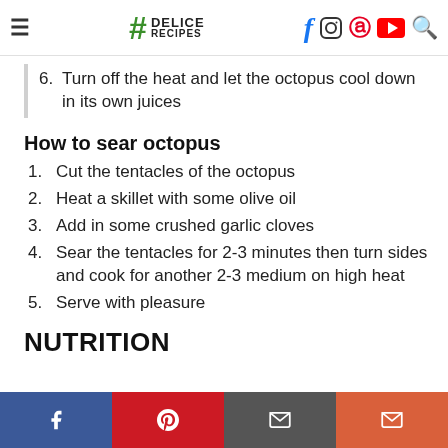Delice Recipes — navigation and social icons header
6. Turn off the heat and let the octopus cool down in its own juices
How to sear octopus
1. Cut the tentacles of the octopus
2. Heat a skillet with some olive oil
3. Add in some crushed garlic cloves
4. Sear the tentacles for 2-3 minutes then turn sides and cook for another 2-3 medium on high heat
5. Serve with pleasure
NUTRITION
Share bar: Facebook, Pinterest, Email, Email